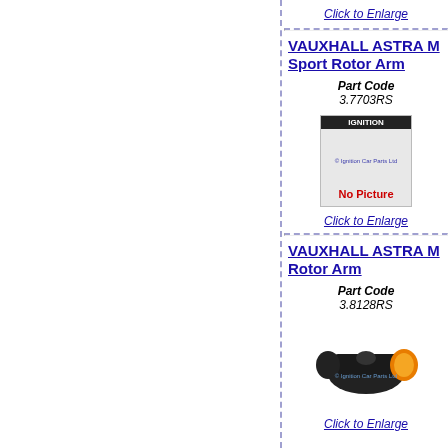Click to Enlarge
VAUXHALL ASTRA M Sport Rotor Arm
Part Code 3.7703RS
[Figure (photo): No picture placeholder image for ignition car part]
Click to Enlarge
VAUXHALL ASTRA M Rotor Arm
Part Code 3.8128RS
[Figure (photo): Photo of a rotor arm ignition car part, black with orange/yellow cap]
Click to Enlarge